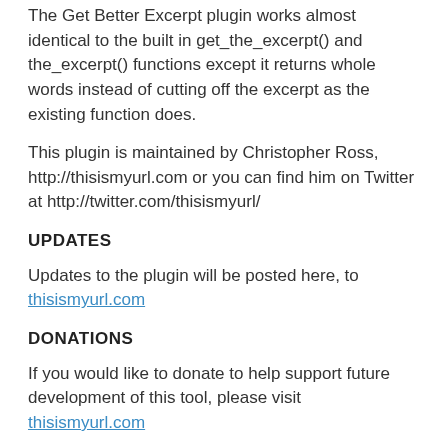The Get Better Excerpt plugin works almost identical to the built in get_the_excerpt() and the_excerpt() functions except it returns whole words instead of cutting off the excerpt as the existing function does.
This plugin is maintained by Christopher Ross, http://thisismyurl.com or you can find him on Twitter at http://twitter.com/thisismyurl/
UPDATES
Updates to the plugin will be posted here, to thisismyurl.com
DONATIONS
If you would like to donate to help support future development of this tool, please visit thisismyurl.com